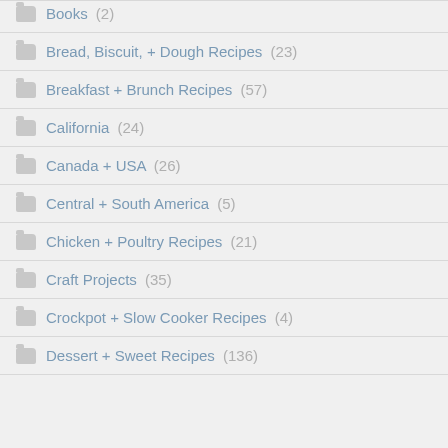Books (2)
Bread, Biscuit, + Dough Recipes (23)
Breakfast + Brunch Recipes (57)
California (24)
Canada + USA (26)
Central + South America (5)
Chicken + Poultry Recipes (21)
Craft Projects (35)
Crockpot + Slow Cooker Recipes (4)
Dessert + Sweet Recipes (136)